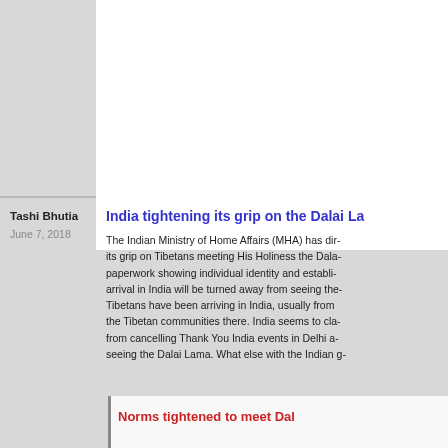[Figure (screenshot): Thumbnail screenshot of a webpage with pink/red colored blocks and a color bar]
Reply
Tashi Bhutia
June 7, 2018
India tightening its grip on the Dalai La...
The Indian Ministry of Home Affairs (MHA) has dir... its grip on Tibetans meeting His Holiness the Dala... paperwork showing individual identity and establi... arrival in India will be turned away from seeing the... Tibetans have been arriving in India, usually from ... the Tibetan communities there. India seems to cla... from cancelling Thank You India events in Delhi a... seeing the Dalai Lama. What else with the Indian g...
Norms tightened to meet Dal...